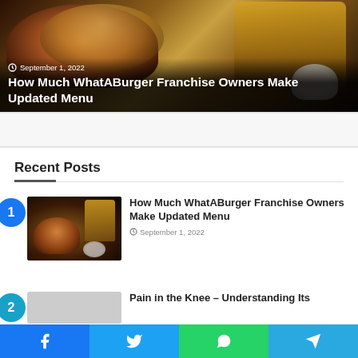[Figure (photo): Hero image of a burger with fries and dipping sauce on dark background, with date and title overlay]
How Much WhatABurger Franchise Owners Make Updated Menu
September 1, 2022
Recent Posts
[Figure (photo): Thumbnail image of burger with fries and dipping sauce on dark background]
How Much WhatABurger Franchise Owners Make Updated Menu
September 1, 2022
Pain in the Knee – Understanding Its
[Figure (infographic): Social share bar with Facebook, Twitter, WhatsApp, and Telegram buttons]